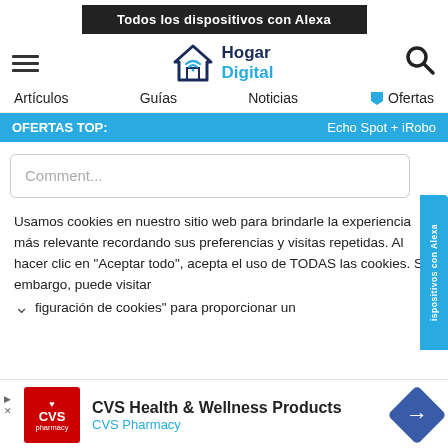[Figure (screenshot): Website screenshot of Hogar Digital Spanish tech website with navigation, cookie notice, and CVS ad]
Todos los dispositivos con Alexa
[Figure (logo): Hogar Digital logo with house/wifi icon]
Artículos   Guías   Noticias   Ofertas
OFERTAS TOP:   Echo Spot + iRobo
Comment...
Usamos cookies en nuestro sitio web para brindarle la experiencia más relevante recordando sus preferencias y visitas repetidas. Al hacer clic en "Aceptar todo", acepta el uso de TODAS las cookies. Sin embargo, puede visitar figuración de cookies" para proporcionar un
[Figure (logo): CVS Pharmacy logo (red square with heart)]
CVS Health & Wellness Products
CVS Pharmacy